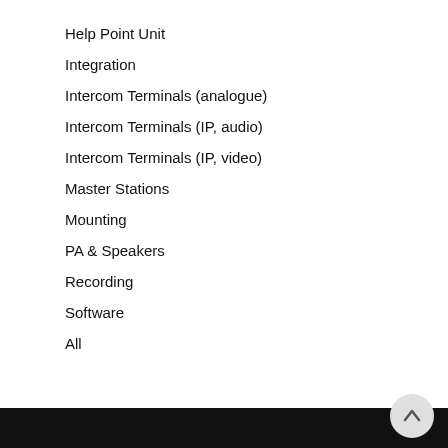Help Point Unit
Integration
Intercom Terminals (analogue)
Intercom Terminals (IP, audio)
Intercom Terminals (IP, video)
Master Stations
Mounting
PA & Speakers
Recording
Software
All